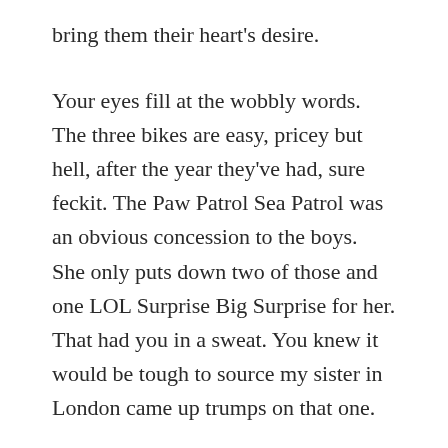bring them their heart’s desire.
Your eyes fill at the wobbly words. The three bikes are easy, pricey but hell, after the year they’ve had, sure feckit. The Paw Patrol Sea Patrol was an obvious concession to the boys. She only puts down two of those and one LOL Surprise Big Surprise for her. That had you in a sweat. You knew it would be tough to source my sister in London came up trumps on that one.
But that final line broke you.
In her best writing, with a fair bit of rubbing out and redoing, she’d written and underlined, “Please please Santa could you call for Mummy in heaven and bring her home to us on your sleigh.”